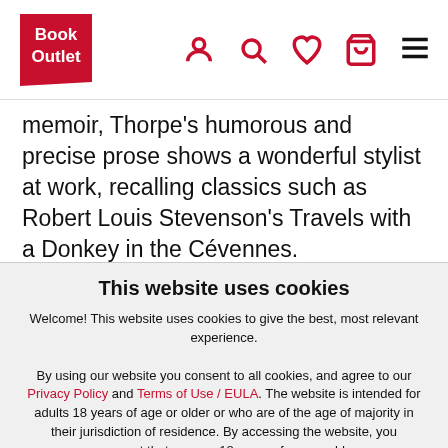[Figure (logo): Book Outlet logo — red background with white text 'Book Outlet']
memoir, Thorpe's humorous and precise prose shows a wonderful stylist at work, recalling classics such as Robert Louis Stevenson's Travels with a Donkey in the Cévennes.
This website uses cookies
Welcome! This website uses cookies to give the best, most relevant experience.
By using our website you consent to all cookies, and agree to our Privacy Policy and Terms of Use / EULA. The website is intended for adults 18 years of age or older or who are of the age of majority in their jurisdiction of residence. By accessing the website, you represent that you are 18 years of age or older.
I Agree